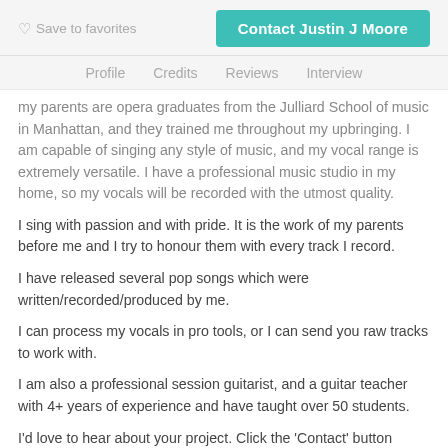Save to favorites | Contact Justin J Moore
Profile  Credits  Reviews  Interview
my parents are opera graduates from the Julliard School of music in Manhattan, and they trained me throughout my upbringing. I am capable of singing any style of music, and my vocal range is extremely versatile. I have a professional music studio in my home, so my vocals will be recorded with the utmost quality.
I sing with passion and with pride. It is the work of my parents before me and I try to honour them with every track I record.
I have released several pop songs which were written/recorded/produced by me.
I can process my vocals in pro tools, or I can send you raw tracks to work with.
I am also a professional session guitarist, and a guitar teacher with 4+ years of experience and have taught over 50 students.
I'd love to hear about your project. Click the 'Contact' button above to get in touch.